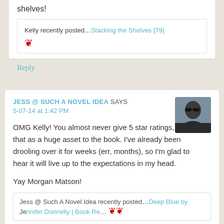shelves!
Kelly recently posted...Stacking the Shelves [79]
Reply
JESS @ SUCH A NOVEL IDEA SAYS
5-07-14 at 1:42 PM
[Figure (photo): Avatar photo of Jess - person wearing sunglasses]
OMG Kelly! You almost never give 5 star ratings, so I take that as a huge asset to the book. I've already been drooling over it for weeks (err, months), so I'm glad to hear it will live up to the expectations in my head.
Yay Morgan Matson!
Jess @ Such A Novel Idea recently posted...Deep Blue by Jennifer Donnelly | Book Review